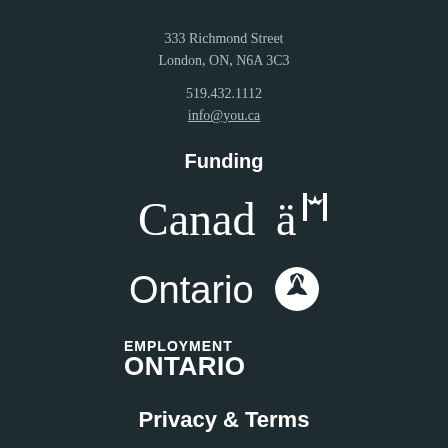333 Richmond Street
London, ON, N6A 3C3
519.432.1112
info@you.ca
Funding
[Figure (logo): Canada wordmark logo in white]
[Figure (logo): Ontario logo with trillium symbol in white]
[Figure (logo): Employment Ontario logo in white]
Privacy & Terms
Privacy Policy
Terms of Use
Accessibility Policy